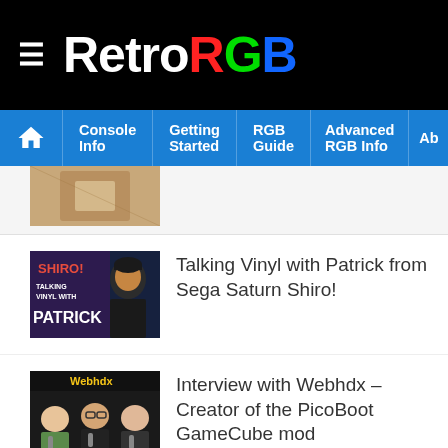RetroRGB
[Figure (screenshot): RetroRGB website navigation bar with hamburger menu, RetroRGB logo in white/red/green/blue, and nav items: Console Info, Getting Started, RGB Guide, Advanced RGB Info, Ab...]
[Figure (photo): Partial thumbnail of an article - wooden/metallic object on desk]
[Figure (photo): Thumbnail for 'Talking Vinyl with Patrick from Sega Saturn Shiro!' showing SHIRO! logo and man with beard]
Talking Vinyl with Patrick from Sega Saturn Shiro!
[Figure (photo): Thumbnail for 'Interview with Webhdx – Creator of the PicoBoot GameCube mod' showing three men with podcast microphones, Webhdx label]
Interview with Webhdx – Creator of the PicoBoot GameCube mod
[Figure (photo): Partial thumbnail for 'Interview with CRT' article - Cathode Ray Podcast #27]
Interview with CRT